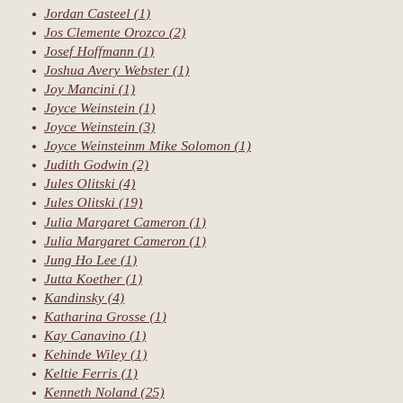Jordan Casteel (1)
Jos Clemente Orozco (2)
Josef Hoffmann (1)
Joshua Avery Webster (1)
Joy Mancini (1)
Joyce Weinstein (1)
Joyce Weinstein (3)
Joyce Weinsteinm Mike Solomon (1)
Judith Godwin (2)
Jules Olitski (4)
Jules Olitski (19)
Julia Margaret Cameron (1)
Julia Margaret Cameron (1)
Jung Ho Lee (1)
Jutta Koether (1)
Kandinsky (4)
Katharina Grosse (1)
Kay Canavino (1)
Kehinde Wiley (1)
Keltie Ferris (1)
Kenneth Noland (25)
Kenneth V Young (1)
Kenworth Moffett (2)
Kevin Sinnott (1)
Kikuo Saito (3)